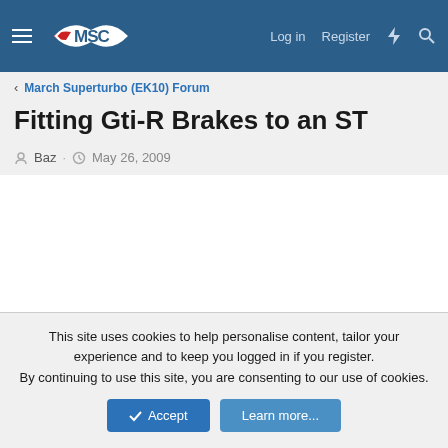MSC Forum — Log in | Register
< March Superturbo (EK10) Forum
Fitting Gti-R Brakes to an ST
Baz · May 26, 2009
This site uses cookies to help personalise content, tailor your experience and to keep you logged in if you register. By continuing to use this site, you are consenting to our use of cookies.